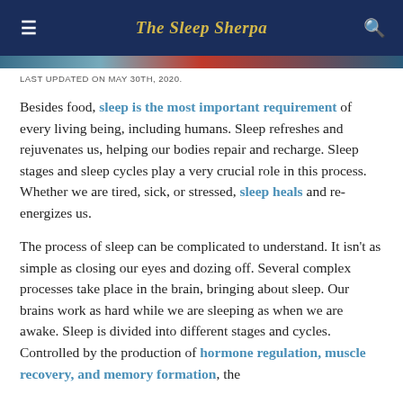The Sleep Sherpa
LAST UPDATED ON MAY 30TH, 2020.
Besides food, sleep is the most important requirement of every living being, including humans. Sleep refreshes and rejuvenates us, helping our bodies repair and recharge. Sleep stages and sleep cycles play a very crucial role in this process. Whether we are tired, sick, or stressed, sleep heals and re-energizes us.
The process of sleep can be complicated to understand. It isn't as simple as closing our eyes and dozing off. Several complex processes take place in the brain, bringing about sleep. Our brains work as hard while we are sleeping as when we are awake. Sleep is divided into different stages and cycles. Controlled by the production of hormone regulation, muscle recovery, and memory formation, the